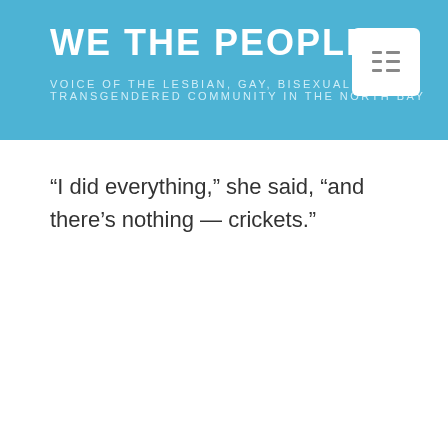WE THE PEOPLE
VOICE OF THE LESBIAN, GAY, BISEXUAL & TRANSGENDERED COMMUNITY IN THE NORTH BAY
“I did everything,” she said, “and there’s nothing — crickets.”